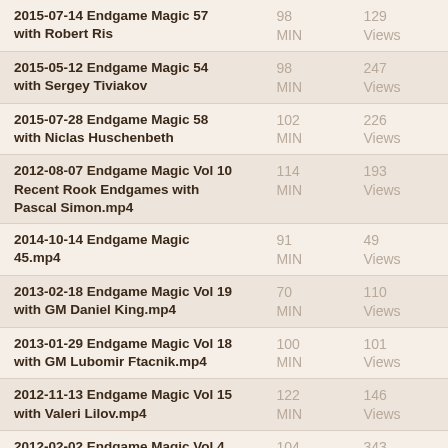| Title | Duration | Views |
| --- | --- | --- |
| 2015-07-14 Endgame Magic 57 with Robert Ris | 98 MIN | 129 Views |
| 2015-05-12 Endgame Magic 54 with Sergey Tiviakov | 98 MIN | 247 Views |
| 2015-07-28 Endgame Magic 58 with Niclas Huschenbeth | 102 MIN | 226 Views |
| 2012-08-07 Endgame Magic Vol 10 Recent Rook Endgames with Pascal Simon.mp4 | 114 MIN | 193 Views |
| 2014-10-14 Endgame Magic 45.mp4 | 91 MIN | 49 Views |
| 2013-02-18 Endgame Magic Vol 19 with GM Daniel King.mp4 | 70 MIN | 110 Views |
| 2013-01-29 Endgame Magic Vol 18 with GM Lubomir Ftacnik.mp4 | 100 MIN | 101 Views |
| 2012-11-13 Endgame Magic Vol 15 with Valeri Lilov.mp4 | 122 MIN | 146 Views |
| 2012-02-02 Endgame Magic Vol 4 Endgames from Wijk aan Yee.mp4 | 104 MIN | 343 Views |
| 2013-04-11 Endgame Magic 20 with IM Andrew Martin.mp4 | 105 MIN | 85 Views |